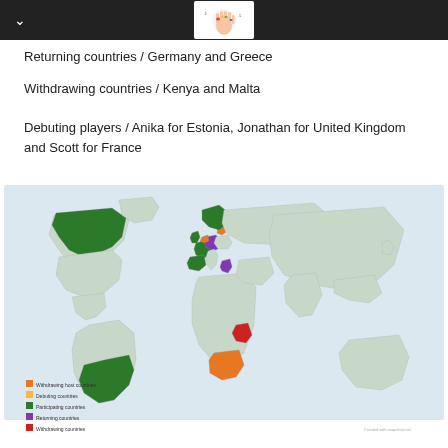Returning countries / Germany and Greece
Withdrawing countries / Kenya and Malta
Debuting players / Anika for Estonia, Jonathan for United Kingdom and Scott for France
[Figure (map): World map showing participating, debuting, returning, and withdrawing countries highlighted in different colors (green for participating, orange for debuting, purple for returning, red for withdrawing). Legend visible in bottom-left corner.]